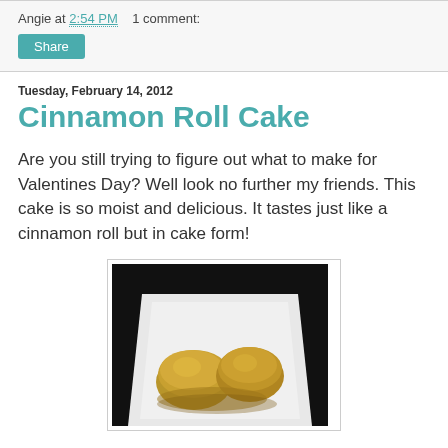Angie at 2:54 PM    1 comment:
Share
Tuesday, February 14, 2012
Cinnamon Roll Cake
Are you still trying to figure out what to make for Valentines Day? Well look no further my friends. This cake is so moist and delicious. It tastes just like a cinnamon roll but in cake form!
[Figure (photo): Photo of cinnamon roll cake pieces on a white plate against a dark background]